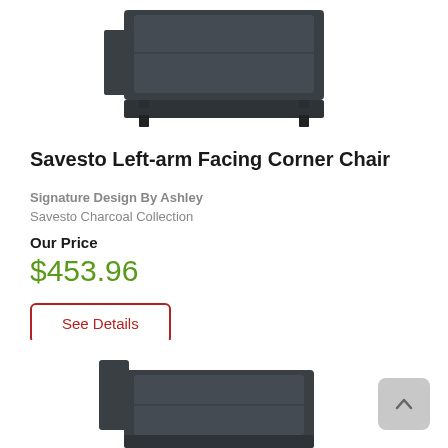[Figure (photo): Photo of a dark charcoal upholstered corner chair/ottoman, viewed from above-front angle, shown at top of page cropped]
Savesto Left-arm Facing Corner Chair
Signature Design By Ashley
Savesto Charcoal Collection
Our Price
$453.96
See Details
[Figure (photo): Partial photo of another dark charcoal upholstered chair piece, cropped at the bottom of the page]